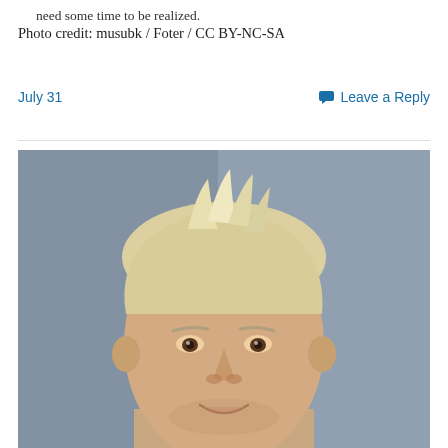need some time to be realized.
Photo credit: musubk / Foter / CC BY-NC-SA
July 31
Leave a Reply
[Figure (photo): Close-up portrait photo of a middle-aged man with short blonde/white hair, looking forward and smiling slightly, photographed against a gray background.]